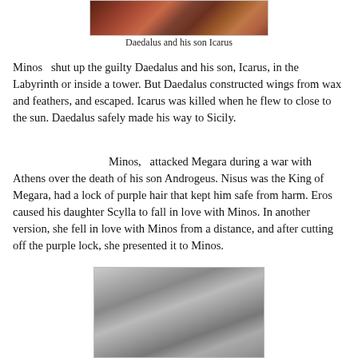[Figure (photo): Top portion of a painting showing Daedalus and his son Icarus, with warm reddish-brown tones]
Daedalus and his son Icarus
Minos  shut up the guilty Daedalus and his son, Icarus, in the Labyrinth or inside a tower. But Daedalus constructed wings from wax and feathers, and escaped. Icarus was killed when he flew to close to the sun. Daedalus safely made his way to Sicily.
Minos,  attacked Megara during a war with Athens over the death of his son Androgeus. Nisus was the King of Megara, had a lock of purple hair that kept him safe from harm. Eros caused his daughter Scylla to fall in love with Minos. In another version, she fell in love with Minos from a distance, and after cutting off the purple lock, she presented it to Minos.
[Figure (illustration): Black and white engraving showing a woman (Scylla) kneeling or leaning over, in a classical scene with draped fabric in the background]